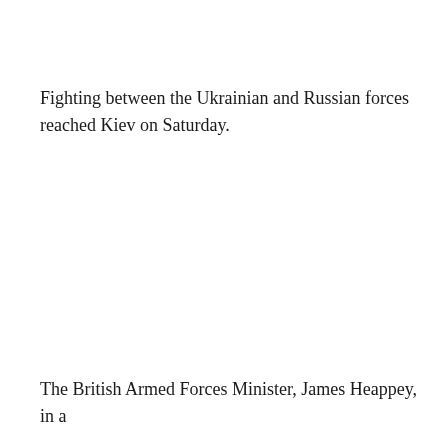Fighting between the Ukrainian and Russian forces reached Kiev on Saturday.
The British Armed Forces Minister, James Heappey, in a